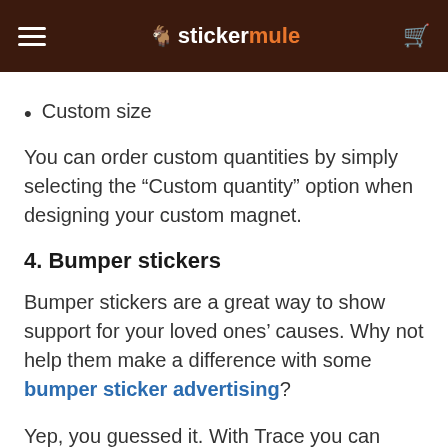stickermule
Custom size
You can order custom quantities by simply selecting the “Custom quantity” option when designing your custom magnet.
4. Bumper stickers
Bumper stickers are a great way to show support for your loved ones’ causes. Why not help them make a difference with some bumper sticker advertising?
Yep, you guessed it. With Trace you can custom-design your bumper stickers with different shapes